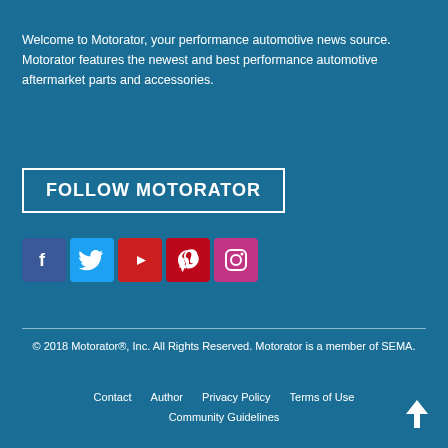Welcome to Motorator, your performance automotive news source. Motorator features the newest and best performance automotive aftermarket parts and accessories.
FOLLOW MOTORATOR
[Figure (infographic): Five social media icons in a row: Facebook (dark blue), Twitter (light blue), YouTube (red), Pinterest (red), Instagram (pink/magenta)]
© 2018 Motorator®, Inc. All Rights Reserved. Motorator is a member of SEMA.
Contact   Author   Privacy Policy   Terms of Use   Community Guidelines